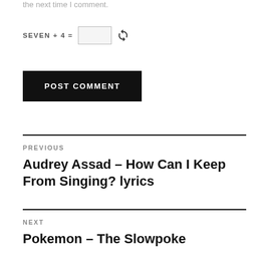the next time I comment.
SEVEN + 4 = [input] [refresh]
POST COMMENT
PREVIOUS
Audrey Assad – How Can I Keep From Singing? lyrics
NEXT
Pokemon – The Slowpoke